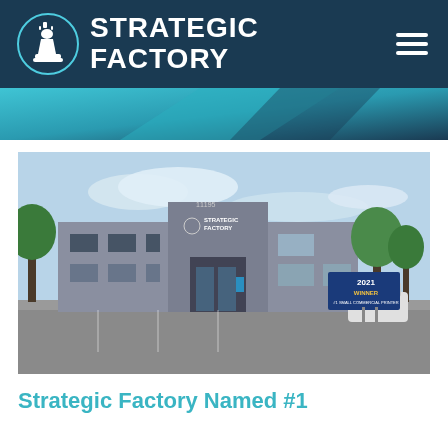STRATEGIC FACTORY
[Figure (photo): Exterior photograph of the Strategic Factory building, a two-story grey commercial building with the Strategic Factory logo on the facade. A blue '2021 Winner #1 Small Commercial Printer' sign is visible in the foreground parking lot.]
Strategic Factory Named #1